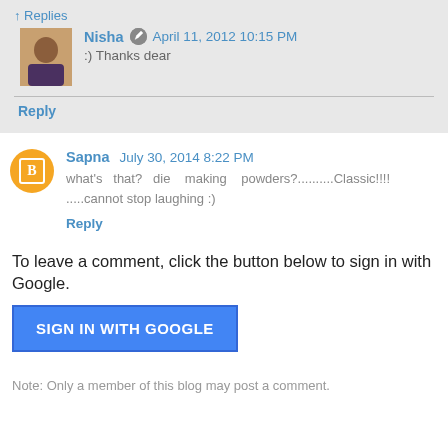↑ Replies
Nisha  April 11, 2012 10:15 PM
:) Thanks dear
Reply
Sapna  July 30, 2014 8:22 PM
what's that? die making powders?..........Classic!!!!
.....cannot stop laughing :)
Reply
To leave a comment, click the button below to sign in with Google.
SIGN IN WITH GOOGLE
Note: Only a member of this blog may post a comment.